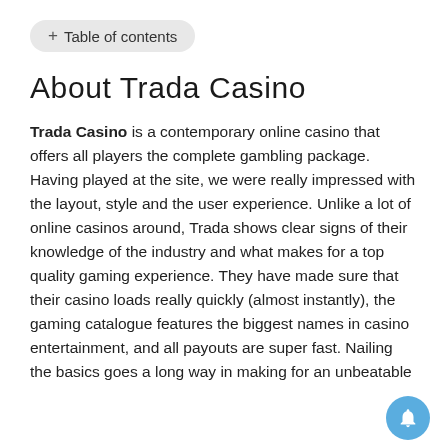+ Table of contents
About Trada Casino
Trada Casino is a contemporary online casino that offers all players the complete gambling package. Having played at the site, we were really impressed with the layout, style and the user experience. Unlike a lot of online casinos around, Trada shows clear signs of their knowledge of the industry and what makes for a top quality gaming experience. They have made sure that their casino loads really quickly (almost instantly), the gaming catalogue features the biggest names in casino entertainment, and all payouts are super fast. Nailing the basics goes a long way in making for an unbeatable